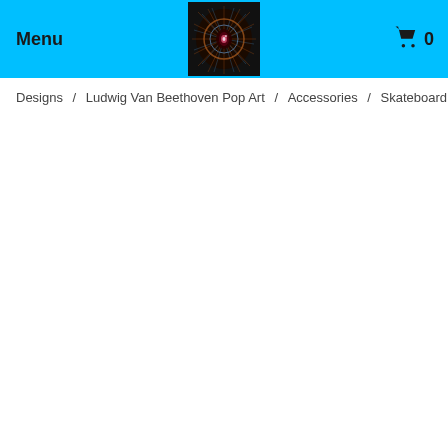Menu  [logo image]  0
Designs  /  Ludwig Van Beethoven Pop Art  /  Accessories  /  Skateboard